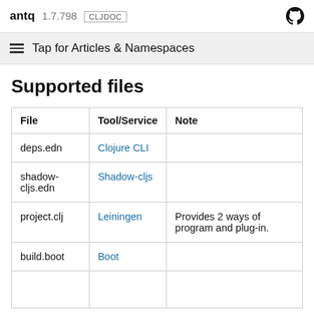antq 1.7.798 CLJDOC
Tap for Articles & Namespaces
Supported files
| File | Tool/Service | Note |
| --- | --- | --- |
| deps.edn | Clojure CLI |  |
| shadow-cljs.edn | Shadow-cljs |  |
| project.clj | Leiningen | Provides 2 ways of program and plug-in. |
| build.boot | Boot |  |
|  |  |  |